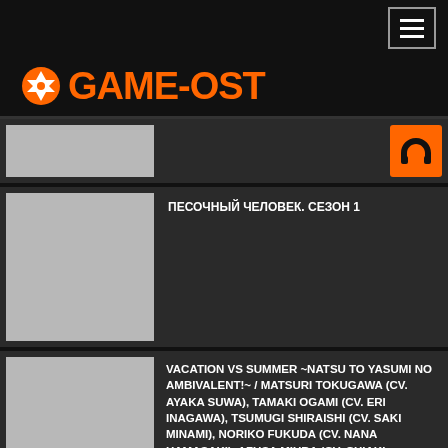GAME-OST [hamburger menu]
[Figure (logo): GAME-OST logo with white snowflake/cross icon and orange bold text GAME-OST]
[Figure (photo): Thumbnail placeholder gray image (small, first item)]
[Figure (illustration): Orange headphone icon in orange rounded square]
ПЕСОЧНЫЙ ЧЕЛОВЕК. СЕЗОН 1
[Figure (photo): Large thumbnail placeholder gray image (second item)]
VACATION VS SUMMER ~NATSU TO YASUMI NO AMBIVALENT!~ / MATSURI TOKUGAWA (CV. AYAKA SUWA), TAMAKI OGAMI (CV. ERI INAGAWA), TSUMUGI SHIRAISHI (CV. SAKI MINAMI), NORIKO FUKUDA (CV. NANA HAMASAKI), AZUSA MIURA (CV. CHIAKI TAKAHASHI)
[Figure (photo): Thumbnail placeholder gray image (third item)]
[Figure (illustration): Orange headphone icon in orange rounded square (partially visible at bottom)]